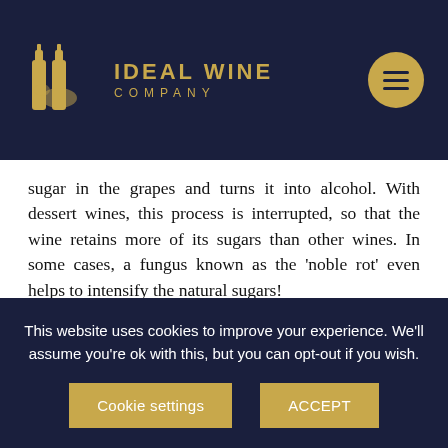[Figure (logo): Ideal Wine Company logo with two wine bottles and world map, gold on dark navy background, with hamburger menu button]
sugar in the grapes and turns it into alcohol. With dessert wines, this process is interrupted, so that the wine retains more of its sugars than other wines. In some cases, a fungus known as the 'noble rot' even helps to intensify the natural sugars!
There are at least five main kinds of dessert wine. These range from fortified wines and sweet red wines to richly sweet dessert wines, lightly sweet dessert wines and sparkling dessert wines. Here are some of
This website uses cookies to improve your experience. We'll assume you're ok with this, but you can opt-out if you wish.
Cookie settings
ACCEPT